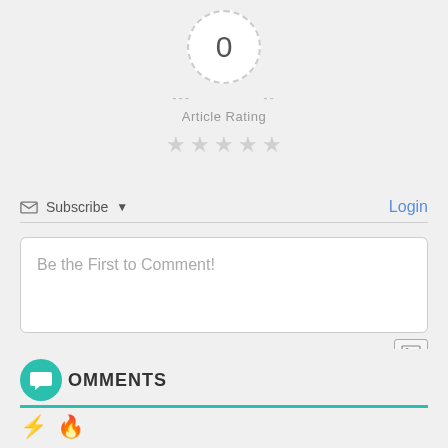[Figure (other): Article rating widget showing a dashed circle with '0' in the center, dashes on either side, 'Article Rating' label, and 5 empty gray stars below]
Subscribe ▾
Login
Be the First to Comment!
This site uses Akismet to reduce spam. Learn how your comment data is processed.
COMMENTS